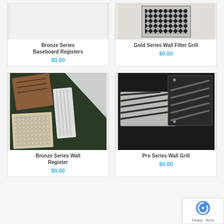[Figure (photo): Bronze Series Baseboard Registers product image - partially visible at top, appears blank/cropped]
Bronze Series Baseboard Registers
$0.00
[Figure (photo): Gold Series Wall Filter Grill product image - shows decorative diamond-pattern metal grill]
Gold Series Wall Filter Grill
$0.00
[Figure (photo): Bronze Series Wall Register product image - shows various wall register styles in brown/beige/white]
Bronze Series Wall Register
$0.00
[Figure (photo): Pro Series Wall Grill product image - shows dark/black metal grill with diagonal slats]
Pro Series Wall Grill
$0.00